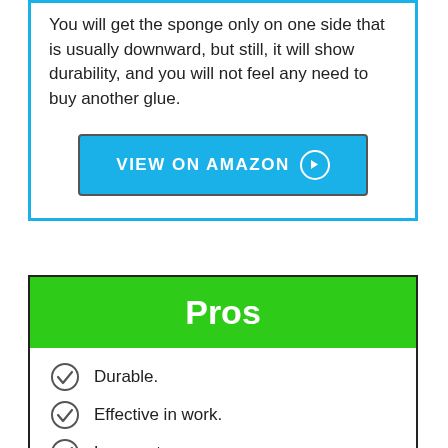You will get the sponge only on one side that is usually downward, but still, it will show durability, and you will not feel any need to buy another glue.
[Figure (other): Blue 'VIEW ON AMAZON' button with right-arrow circle icon]
Pros
Durable.
Effective in work.
Low cost.